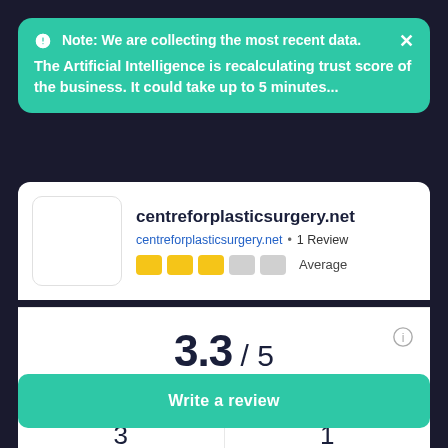Note: We are collecting the most recent data. The Artificial Intelligence is recalculating trust score of the business. It could take up to 5 minutes...
centreforplasticsurgery.net
centreforplasticsurgery.net  •  1 Review  Average
3.3 / 5  Trust Score
3  Reviews
1  Social
Write a review